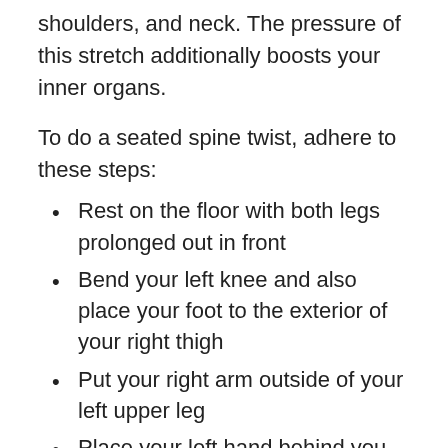shoulders, and neck. The pressure of this stretch additionally boosts your inner organs.
To do a seated spine twist, adhere to these steps:
Rest on the floor with both legs prolonged out in front
Bend your left knee and also place your foot to the exterior of your right thigh
Put your right arm outside of your left upper leg
Place your left hand behind you for support
Starting at the base of your back, twist to the left side
Hold this posture for...